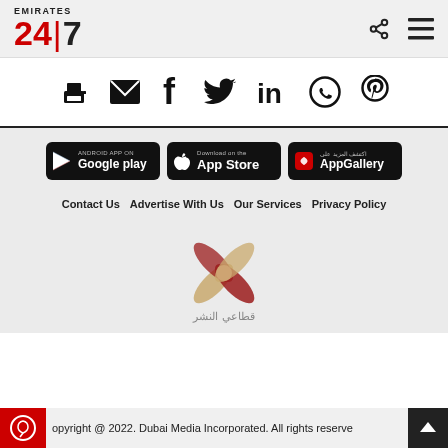Emirates 24|7
[Figure (infographic): Social sharing icons row: print, email, facebook, twitter, linkedin, whatsapp, pinterest]
[Figure (infographic): App store badges: Android App on Google Play, Download on the App Store, AppGallery (Huawei)]
Contact Us   Advertise With Us   Our Services   Privacy Policy
[Figure (logo): Arabic media publishing sector logo with crossed ribbons in red and gold, with Arabic text]
Copyright @ 2022. Dubai Media Incorporated. All rights reserved